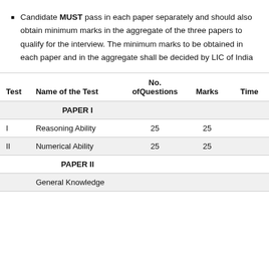Candidate MUST pass in each paper separately and should also obtain minimum marks in the aggregate of the three papers to qualify for the interview. The minimum marks to be obtained in each paper and in the aggregate shall be decided by LIC of India
| Test | Name of the Test | No. ofQuestions | Marks | Time |
| --- | --- | --- | --- | --- |
|  | PAPER I |  |  |  |
| I | Reasoning Ability | 25 | 25 |  |
| II | Numerical Ability | 25 | 25 |  |
|  | PAPER II |  |  |  |
|  | General Knowledge |  |  |  |